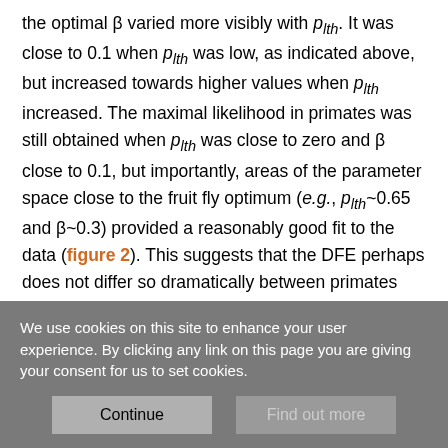the optimal β varied more visibly with p_lth. It was close to 0.1 when p_lth was low, as indicated above, but increased towards higher values when p_lth increased. The maximal likelihood in primates was still obtained when p_lth was close to zero and β close to 0.1, but importantly, areas of the parameter space close to the fruit fly optimum (e.g., p_lth~0.65 and β~0.3) provided a reasonably good fit to the data (figure 2). This suggests that the DFE perhaps does not differ so dramatically between primates and fruit flies, offering the opportunity to compare estimates of across species under the Gamma+lethal model. The difference in log-likelihood between the one-β-per-species and shared-β models was substantially decreased under the Gamma+lethal
We use cookies on this site to enhance your user experience. By clicking any link on this page you are giving your consent for us to set cookies.